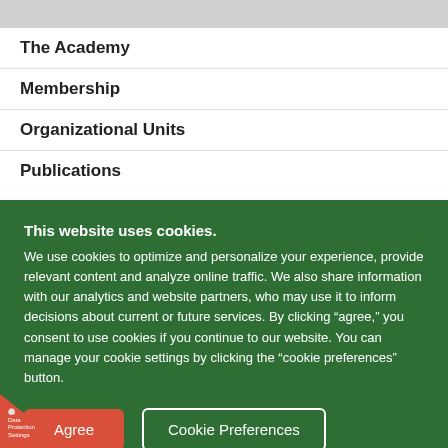The Academy
Membership
Organizational Units
Publications
This website uses cookies.
We use cookies to optimize and personalize your experience, provide relevant content and analyze online traffic. We also share information with our analytics and website partners, who may use it to inform decisions about current or future services. By clicking “agree,” you consent to use cookies if you continue to our website. You can manage your cookie settings by clicking the “cookie preferences” button.
Agree | Cookie Preferences